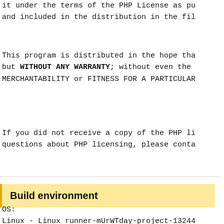it under the terms of the PHP License as pu
and included in the distribution in the fil
This program is distributed in the hope tha
but WITHOUT ANY WARRANTY; without even the
MERCHANTABILITY or FITNESS FOR A PARTICULAR
If you did not receive a copy of the PHP li
questions about PHP licensing, please conta
Build environment
OS:
Linux - Linux runner-mUrWTday-project-13244
Autoconf: